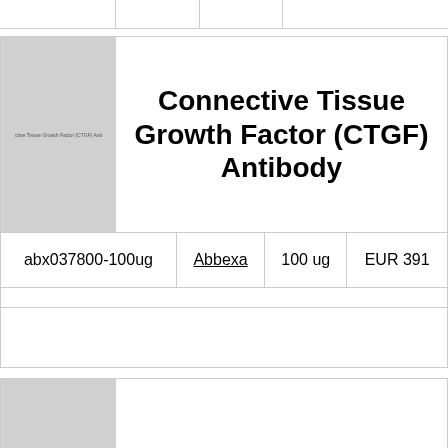[Figure (photo): Product image placeholder for Connective Tissue Growth Factor (CTGF) Antibody, grey rectangle with small text label]
Connective Tissue Growth Factor (CTGF) Antibody
|  |  |  |  |
| --- | --- | --- | --- |
| abx037800-100ug | Abbexa | 100 ug | EUR 391 |
[Figure (photo): Second product image placeholder for Connective Tissue Growth Factor (CTGF) Antibody, grey rectangle with small text label]